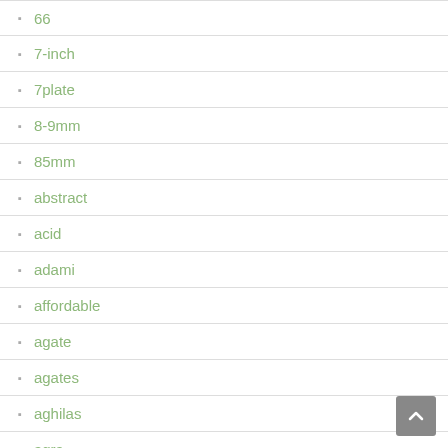66
7-inch
7plate
8-9mm
85mm
abstract
acid
adami
affordable
agate
agates
aghilas
agra
aitche
alci